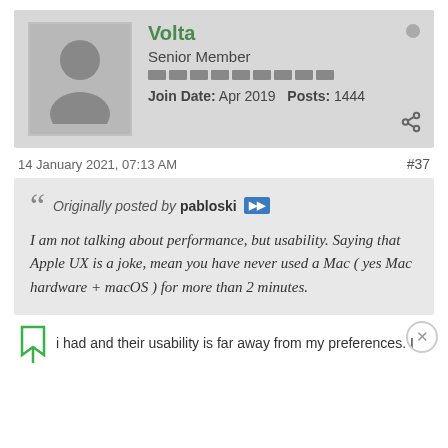Volta | Senior Member | Join Date: Apr 2019 | Posts: 1444
14 January 2021, 07:13 AM
#37
Originally posted by pabloski
I am not talking about performance, but usability. Saying that Apple UX is a joke, mean you have never used a Mac ( yes Mac hardware + macOS ) for more than 2 minutes.
i had and their usability is far away from my preferences. I